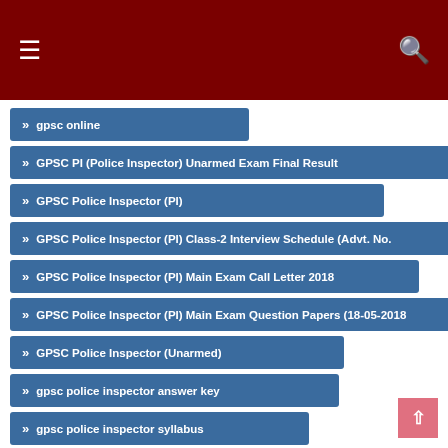GPSC Online
» gpsc online
» GPSC PI (Police Inspector) Unarmed Exam Final Result
» GPSC Police Inspector (PI)
» GPSC Police Inspector (PI) Class-2 Interview Schedule (Advt. No.
» GPSC Police Inspector (PI) Main Exam Call Letter 2018
» GPSC Police Inspector (PI) Main Exam Question Papers (18-05-2018
» GPSC Police Inspector (Unarmed)
» gpsc police inspector answer key
» gpsc police inspector syllabus
» GPSC Recruitment for 352 Officer and Other Posts 2018 (OJAS)
» GPSC Recruitment for Assistant Research Officer
» GPSC Recruitment for Deputy Section Officer and Mamlatdar Posts